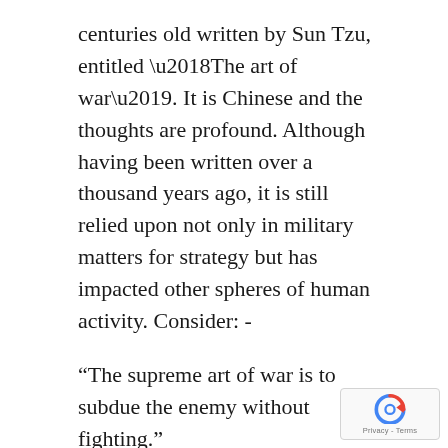centuries old written by Sun Tzu, entitled ‘The art of war’. It is Chinese and the thoughts are profound. Although having been written over a thousand years ago, it is still relied upon not only in military matters for strategy but has impacted other spheres of human activity. Consider: -
“The supreme art of war is to subdue the enemy without fighting.”
“Appear weak when you are strong, and strong when you are weak.”
I start here because I realise that the appro… of a rationalist academic analysis would